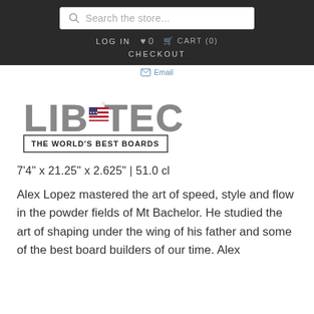Search the store...  LOG IN  ♥ 0  🛒 CART (0)  CHECKOUT
Email
[Figure (logo): Lib Tech logo with text 'THE WORLD'S BEST BOARDS']
7'4" x 21.25" x 2.625" | 51.0 cl
Alex Lopez mastered the art of speed, style and flow in the powder fields of Mt Bachelor. He studied the art of shaping under the wing of his father and some of the best board builders of our time. Alex